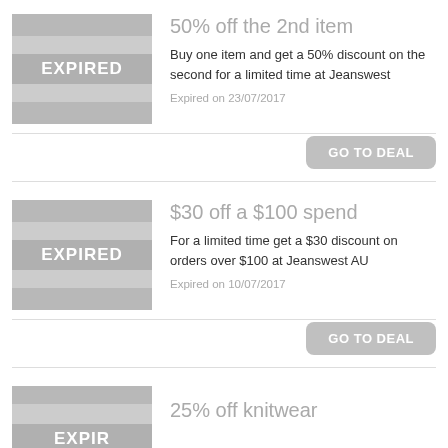[Figure (other): Expired coupon image placeholder with grey stripes and EXPIRED label]
50% off the 2nd item
Buy one item and get a 50% discount on the second for a limited time at Jeanswest
Expired on 23/07/2017
GO TO DEAL
[Figure (other): Expired coupon image placeholder with grey stripes and EXPIRED label]
$30 off a $100 spend
For a limited time get a $30 discount on orders over $100 at Jeanswest AU
Expired on 10/07/2017
GO TO DEAL
[Figure (other): Expired coupon image placeholder partially visible]
25% off knitwear